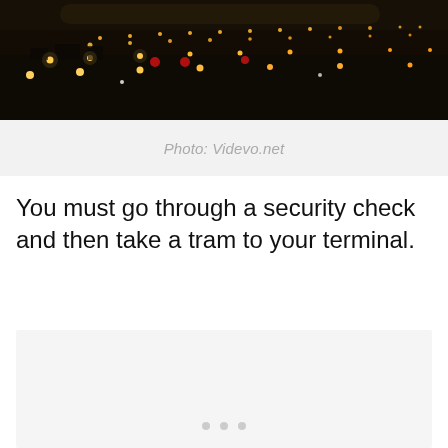[Figure (photo): Aerial night view of an airport with runway lights and orange/amber lights stretching across a dark landscape, with city lights visible in the background.]
Photo: Videvo.net
You must go through a security check and then take a tram to your terminal.
[Figure (photo): A mostly blank/loading image placeholder with three small dots at the bottom, indicating an image carousel or loading state.]